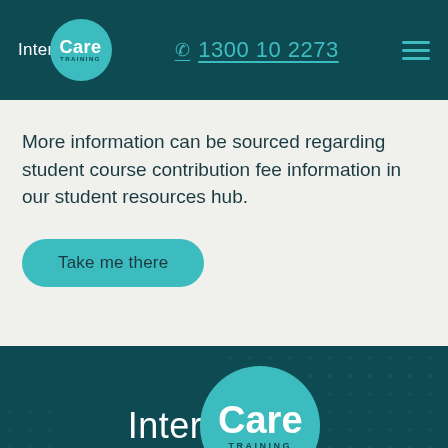[Figure (logo): Inter Care Training logo with teal circle on dark teal header background, phone number 1300 10 2273 and hamburger menu]
More information can be sourced regarding student course contribution fee information in our student resources hub.
Take me there
[Figure (logo): Inter Care Training footer logo centered on dark teal background with dot pattern]